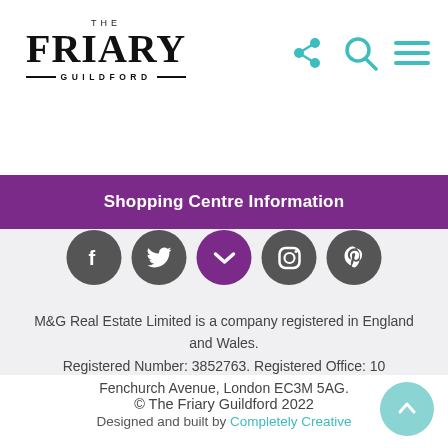[Figure (logo): The Friary Guildford logo with serif FRIARY text and dashes around GUILDFORD]
[Figure (infographic): Top-right header icons: share, search, and hamburger menu in teal]
Shopping Centre Information
[Figure (infographic): Social media circular icons: Facebook, Twitter, chevron/email, Instagram, Pinterest in dark grey]
M&G Real Estate Limited is a company registered in England and Wales.
Registered Number: 3852763. Registered Office: 10 Fenchurch Avenue, London EC3M 5AG.
© The Friary Guildford 2022
Designed and built by Completely Creative